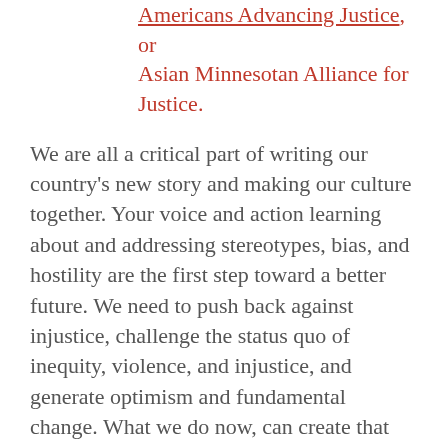Americans Advancing Justice, or Asian Minnesotan Alliance for Justice.
We are all a critical part of writing our country's new story and making our culture together. Your voice and action learning about and addressing stereotypes, bias, and hostility are the first step toward a better future. We need to push back against injustice, challenge the status quo of inequity, violence, and injustice, and generate optimism and fundamental change. What we do now, can create that change. Let's grieve together, take care of one another, face discomfort, and make this injustice STOP.